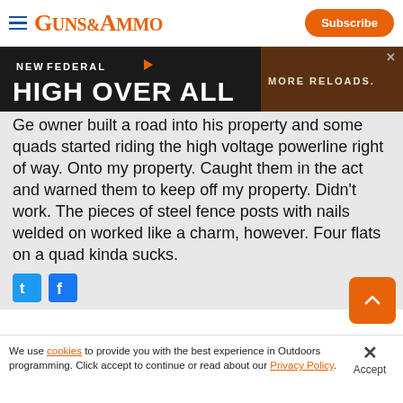GUNS&AMMO | Subscribe
[Figure (other): Federal High Overall advertisement banner - dark background with orange and text reading NEW FEDERAL HIGH OVER ALL MORE RELOADS.]
Ge... owner built a road into his property and some quads started riding the high voltage powerline right of way. Onto my property. Caught them in the act and warned them to keep off my property. Didn't work. The pieces of steel fence posts with nails welded on worked like a charm, however. Four flats on a quad kinda sucks.
[Figure (other): Twitter and Facebook social share icons]
We use cookies to provide you with the best experience in Outdoors programming. Click accept to continue or read about our Privacy Policy.